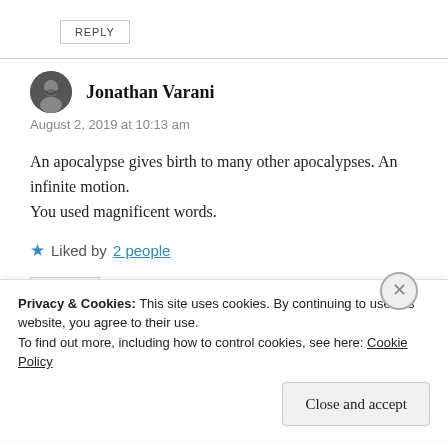REPLY
Jonathan Varani
August 2, 2019 at 10:13 am
An apocalypse gives birth to many other apocalypses. An infinite motion.
You used magnificent words.
★ Liked by 2 people
REPLY
Privacy & Cookies: This site uses cookies. By continuing to use this website, you agree to their use.
To find out more, including how to control cookies, see here: Cookie Policy
Close and accept